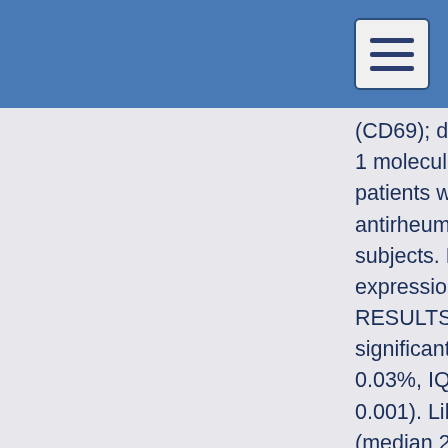(CD69); differentiation (CD127); or functional anergy programmed death 1 molecule [PD-1], cytotoxic T-lymphocyte antigen 4 [CTLA-4]. Results of patients with RA were stratified into subgroups receiving different antirheumatic drugs and compared with samples of 39 healthy control subjects. Moreover, direct effects of biological DMARDs on cytokine expression and proliferation of specific T cells were analyzed in vitro. RESULTS: Unlike patients with SpA, patients with RA showed significantly lower percentages of VZV-specific CD4 T cells (median 0.03%, IQR 0.05%) than control subjects (median 0.09%, IQR 0.16%; p < 0.001). Likewise, SEB-reactive CD4 T-cell levels were lower in patients (median 2.35%, IQR 2.85%) than in control subjects (median 3.96%, IQR 4.38%; p < 0.05); however, expression of cytokines and cell surface markers of VZV-specific T cells did not differ in